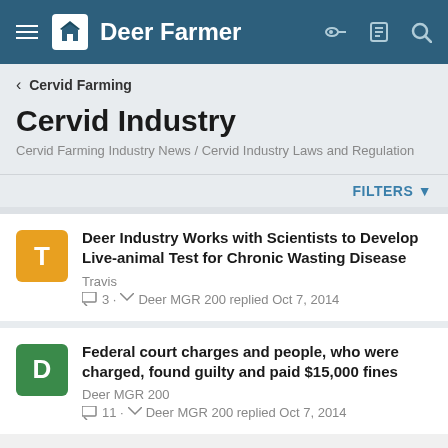Deer Farmer
< Cervid Farming
Cervid Industry
Cervid Farming Industry News / Cervid Industry Laws and Regulation
FILTERS ▾
Deer Industry Works with Scientists to Develop Live-animal Test for Chronic Wasting Disease
Travis
3 · Deer MGR 200 replied Oct 7, 2014
Federal court charges and people, who were charged, found guilty and paid $15,000 fines
Deer MGR 200
11 · Deer MGR 200 replied Oct 7, 2014